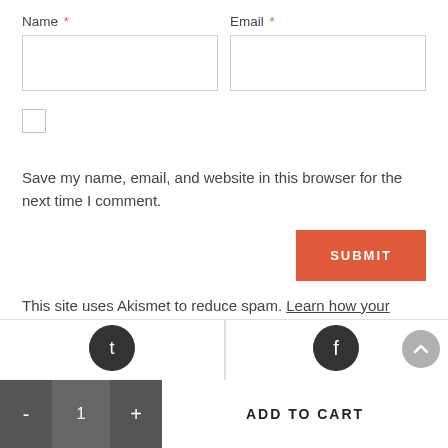Name *
Email *
Save my name, email, and website in this browser for the next time I comment.
SUBMIT
This site uses Akismet to reduce spam. Learn how your comment data is processed.
- 1 + ADD TO CART